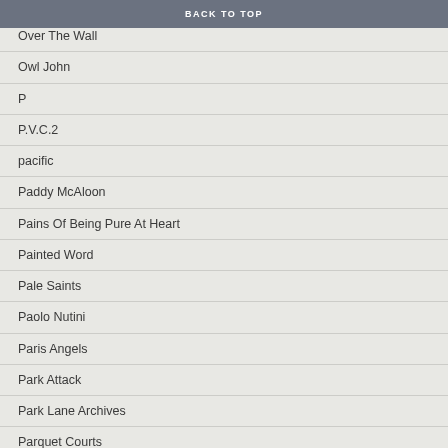BACK TO TOP
Owl John
P
P.V.C.2
pacific
Paddy McAloon
Pains Of Being Pure At Heart
Painted Word
Pale Saints
Paolo Nutini
Paris Angels
Park Attack
Park Lane Archives
Parquet Courts